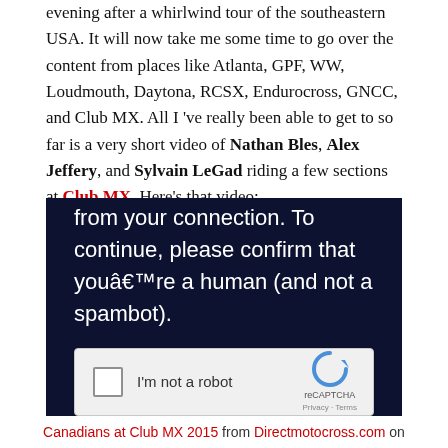evening after a whirlwind tour of the southeastern USA. It will now take me some time to go over the content from places like Atlanta, GPF, WW, Loudmouth, Daytona, RCSX, Endurocross, GNCC, and Club MX. All I 've really been able to get to so far is a very short video of Nathan Bles, Alex Jeffery, and Sylvain LeGad riding a few sections at Club MX. Here's that video:
[Figure (screenshot): Embedded video player showing a reCAPTCHA human verification overlay on a dark navy background. The overlay text reads 'from your connection. To continue, please confirm that youâ€™re a human (and not a spambot).' with a reCAPTCHA checkbox widget below it labeled 'I'm not a robot'.]
Canadians at Club MX 2015 from Directmotocross.com on Vimeo.
There has been some bad weather down south, so a lot of